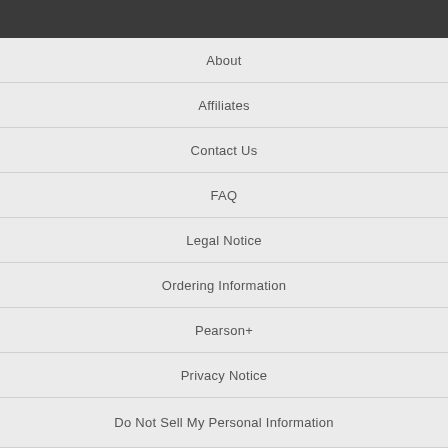About
Affiliates
Contact Us
FAQ
Legal Notice
Ordering Information
Pearson+
Privacy Notice
Do Not Sell My Personal Information